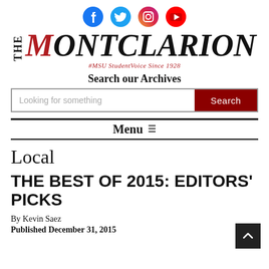[Figure (logo): Social media icons: Facebook (blue), Twitter (light blue), Instagram (gradient pink/orange), YouTube (red)]
[Figure (logo): The Montclarion newspaper masthead logo with THE in vertical text and MONTCLARION in large serif italic font, M in red]
#MSU StudentVoice Since 1928
Search our Archives
Looking for something
Menu
Local
THE BEST OF 2015: EDITORS' PICKS
By Kevin Saez
Published December 31, 2015